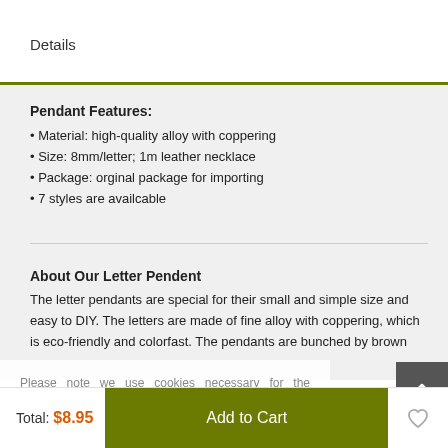Details
Pendant Features:
• Material: high-quality alloy with coppering
• Size: 8mm/letter; 1m leather necklace
• Package: orginal package for importing
• 7 styles are availcable
About Our Letter Pendent
The letter pendants are special for their small and simple size and easy to DIY. The letters are made of fine alloy with coppering, which is eco-friendly and colorfast. The pendants are bunched by brown
Please note we use cookies necessary for the functioning of our site and to enhance your experience. To learn more about our cookies, please read our Cookies Policy.
Total: $8.95   Add to Cart